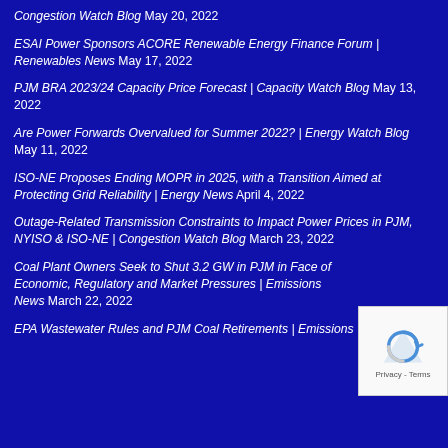Congestion Watch Blog May 20, 2022
ESAI Power Sponsors ACORE Renewable Energy Finance Forum | Renewables News May 17, 2022
PJM BRA 2023/24 Capacity Price Forecast | Capacity Watch Blog May 13, 2022
Are Power Forwards Overvalued for Summer 2022? | Energy Watch Blog May 11, 2022
ISO-NE Proposes Ending MOPR in 2025, with a Transition Aimed at Protecting Grid Reliability | Energy News April 4, 2022
Outage-Related Transmission Constraints to Impact Power Prices in PJM, NYISO & ISO-NE | Congestion Watch Blog March 23, 2022
Coal Plant Owners Seek to Shut 3.2 GW in PJM in Face of Economic, Regulatory and Market Pressures | Emissions News March 22, 2022
EPA Wastewater Rules and PJM Coal Retirements | Emissions Watch